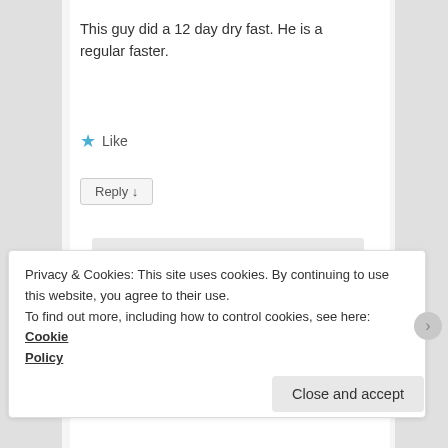This guy did a 12 day dry fast. He is a regular faster.
★ Like
Reply ↓
esmeelafleur on October 24, 2016 at 7:59 AM said:
Privacy & Cookies: This site uses cookies. By continuing to use this website, you agree to their use.
To find out more, including how to control cookies, see here: Cookie Policy
Close and accept